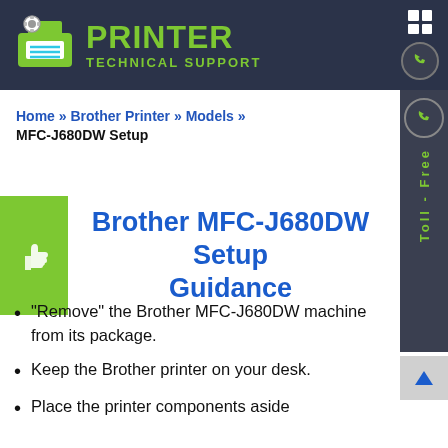[Figure (logo): Printer Technical Support website header with green printer logo icon and site name]
Home » Brother Printer » Models »
MFC-J680DW Setup
Brother MFC-J680DW Setup Guidance
"Remove" the Brother MFC-J680DW machine from its package.
Keep the Brother printer on your desk.
Place the printer components aside